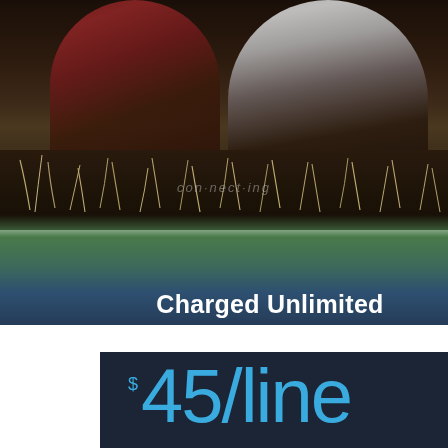[Figure (photo): Outdoor photo showing people crouching near a garden bed with dark soil and dry grass, shot from a low angle. A red/maroon jacket is visible on the left person and a white shirt on the right person.]
Charged Unlimited
4 Line Monthly Plan
$45/line